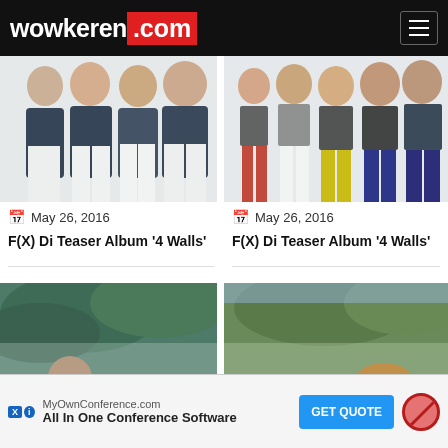wowkeren.com
[Figure (photo): Korean group photo, dark blazers and white pants on white background]
[Figure (photo): Korean girl group photo, colorful pants (red, yellow, navy) on white background]
May 26, 2016
May 26, 2016
F(X) Di Teaser Album '4 Walls'
F(X) Di Teaser Album '4 Walls'
[Figure (photo): Partial photo, greenery/trees visible, person partially visible]
[Figure (photo): Partial photo, outdoor scene with trees]
MyOwnConference.com All In One Conference Software
GET QUOTE